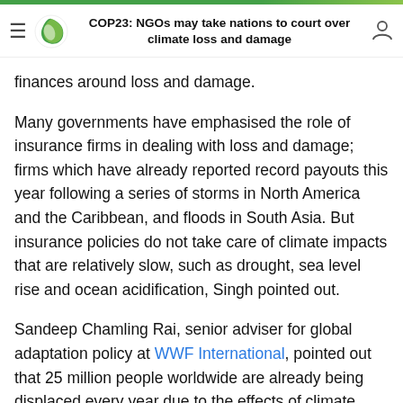COP23: NGOs may take nations to court over climate loss and damage
United States and Australia – to block all discussions on finances around loss and damage.
Many governments have emphasised the role of insurance firms in dealing with loss and damage; firms which have already reported record payouts this year following a series of storms in North America and the Caribbean, and floods in South Asia. But insurance policies do not take care of climate impacts that are relatively slow, such as drought, sea level rise and ocean acidification, Singh pointed out.
Sandeep Chamling Rai, senior adviser for global adaptation policy at WWF International, pointed out that 25 million people worldwide are already being displaced every year due to the effects of climate change.